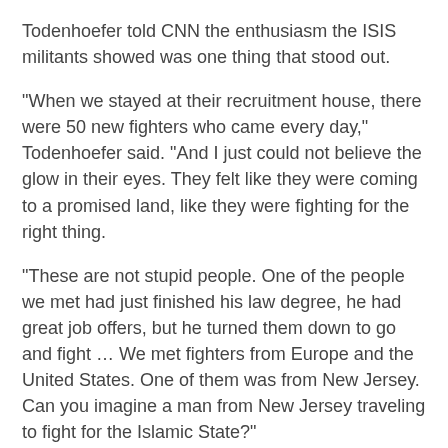Todenhoefer told CNN the enthusiasm the ISIS militants showed was one thing that stood out.
“When we stayed at their recruitment house, there were 50 new fighters who came every day,” Todenhoefer said. “And I just could not believe the glow in their eyes. They felt like they were coming to a promised land, like they were fighting for the right thing.
“These are not stupid people. One of the people we met had just finished his law degree, he had great job offers, but he turned them down to go and fight … We met fighters from Europe and the United States. One of them was from New Jersey. Can you imagine a man from New Jersey traveling to fight for the Islamic State?”
He went on to say that one of ISIS’s main points of strength is their fighters’ willingness — even their will — to die on the battlefield.
Todenhoefer met one somewhat overweight recruit in a “safe house” who said he wears a suicide belt to every battle